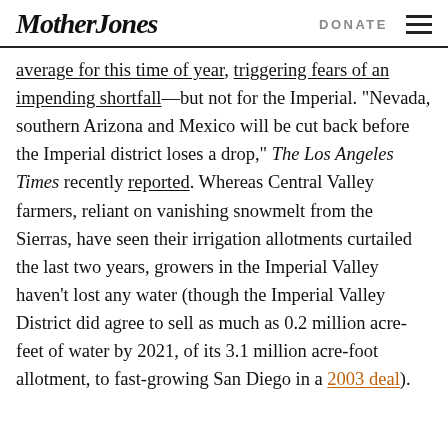Mother Jones | DONATE
average for this time of year, triggering fears of an impending shortfall—but not for the Imperial. “Nevada, southern Arizona and Mexico will be cut back before the Imperial district loses a drop,” The Los Angeles Times recently reported. Whereas Central Valley farmers, reliant on vanishing snowmelt from the Sierras, have seen their irrigation allotments curtailed the last two years, growers in the Imperial Valley haven’t lost any water (though the Imperial Valley District did agree to sell as much as 0.2 million acre-feet of water by 2021, of its 3.1 million acre-foot allotment, to fast-growing San Diego in a 2003 deal).